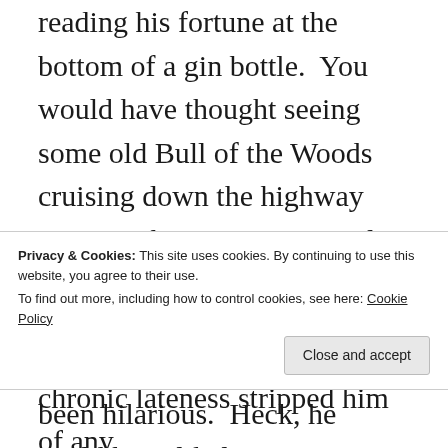reading his fortune at the bottom of a gin bottle.  You would have thought seeing some old Bull of the Woods cruising down the highway wearing these vintage goggles, his longish gray-black hair blowing back in the 55-MPH-generated breezes, would have been hilarious.  Heck, he could have likely
Privacy & Cookies: This site uses cookies. By continuing to use this website, you agree to their use.
To find out more, including how to control cookies, see here: Cookie Policy
chronic lateness stripped him of any